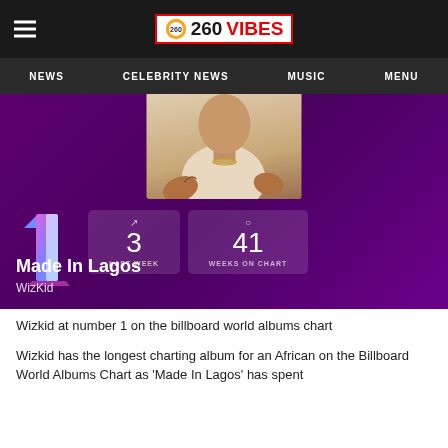260VIBES
NEWS  CELEBRITY NEWS  MUSIC  MENU
[Figure (screenshot): Billboard chart screenshot showing 'Made In Lagos' by WizKid at number 1, last week position 3, 41 weeks on chart, over a purple background with artist photo]
Wizkid at number 1 on the billboard world albums chart
Wizkid has the longest charting album for an African on the Billboard World Albums Chart as 'Made In Lagos' has spent